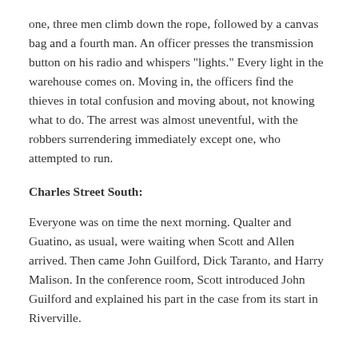one, three men climb down the rope, followed by a canvas bag and a fourth man. An officer presses the transmission button on his radio and whispers "lights." Every light in the warehouse comes on. Moving in, the officers find the thieves in total confusion and moving about, not knowing what to do. The arrest was almost uneventful, with the robbers surrendering immediately except one, who attempted to run.
Charles Street South:
Everyone was on time the next morning. Qualter and Guatino, as usual, were waiting when Scott and Allen arrived. Then came John Guilford, Dick Taranto, and Harry Malison. In the conference room, Scott introduced John Guilford and explained his part in the case from its start in Riverville.